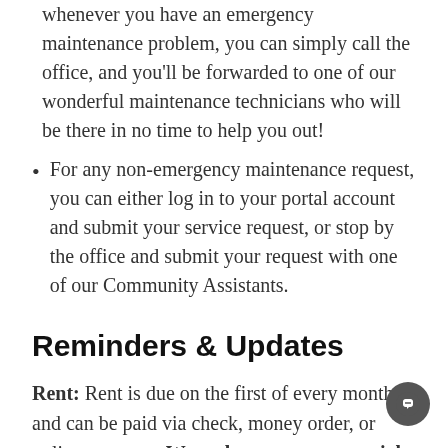whenever you have an emergency maintenance problem, you can simply call the office, and you'll be forwarded to one of our wonderful maintenance technicians who will be there in no time to help you out!
For any non-emergency maintenance request, you can either log in to your portal account and submit your service request, or stop by the office and submit your request with one of our Community Assistants.
Reminders & Updates
Rent: Rent is due on the first of every month and can be paid via check, money order, or online payment. We no longer accept partial payments.
Pet policy reminder: If you have a pet, please